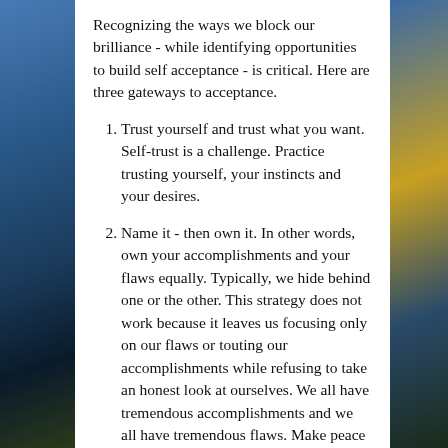[Figure (photo): Background photo of sky with clouds and sunlight rays, dark treeline silhouette at bottom, split into left and right side panels flanking a white content panel]
Recognizing the ways we block our brilliance - while identifying opportunities to build self acceptance - is critical. Here are three gateways to acceptance.
Trust yourself and trust what you want. Self-trust is a challenge. Practice trusting yourself, your instincts and your desires.
Name it - then own it. In other words, own your accomplishments and your flaws equally. Typically, we hide behind one or the other. This strategy does not work because it leaves us focusing only on our flaws or touting our accomplishments while refusing to take an honest look at ourselves. We all have tremendous accomplishments and we all have tremendous flaws. Make peace with this fact and you'll change your life